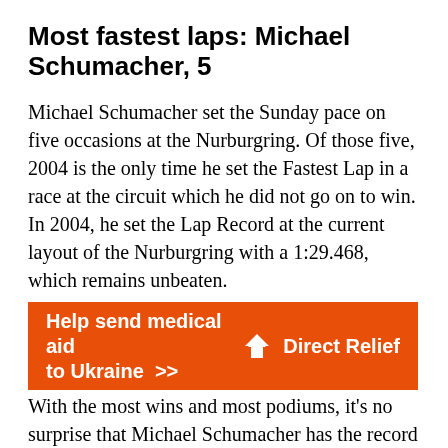Most fastest laps: Michael Schumacher, 5
Michael Schumacher set the Sunday pace on five occasions at the Nurburgring. Of those five, 2004 is the only time he set the Fastest Lap in a race at the circuit which he did not go on to win. In 2004, he set the Lap Record at the current layout of the Nurburgring with a 1:29.468, which remains unbeaten.
Most points scored: Michael Schumacher, 80
With the most wins and most podiums, it's no surprise that Michael Schumacher has the record for most points scored at the Nurburgring. In total
[Figure (other): Orange advertisement banner for Direct Relief — Help send medical aid to Ukraine >>]